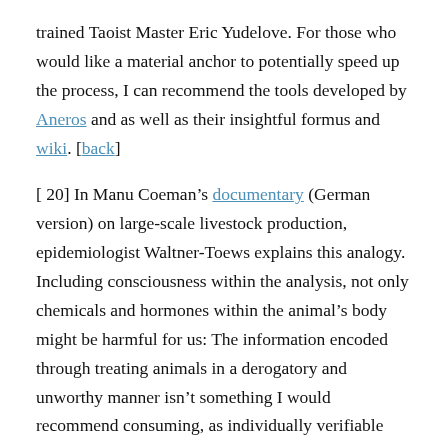trained Taoist Master Eric Yudelove. For those who would like a material anchor to potentially speed up the process, I can recommend the tools developed by Aneros and as well as their insightful formus and wiki. [back]
[ 20] In Manu Coeman's documentary (German version) on large-scale livestock production, epidemiologist Waltner-Toews explains this analogy. Including consciousness within the analysis, not only chemicals and hormones within the animal's body might be harmful for us: The information encoded through treating animals in a derogatory and unworthy manner isn't something I would recommend consuming, as individually verifiable through Masaru Emoto's rice hado experiment. [back]